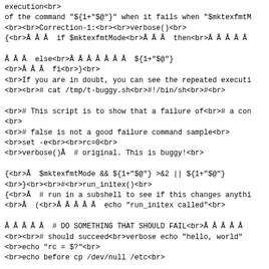execution<br>
of the command "${1+"$@"}" when it fails when "$mktexfmtM
<br><br>Correction-1:<br><br>verbose()<br>
{<br>Â Â Â  if $mktexfmtMode<br>Â Â Â  then<br>Â Â Â Â Â

Â Â Â  else<br>Â Â Â Â Â Â Â  ${1+"$@"}
<br>Â Â Â  fi<br>}<br>
<br>If you are in doubt, you can see the repeated executi
<br><br># cat /tmp/t-buggy.sh<br>#!/bin/sh<br>#<br>

<br># This script is to show that a failure of<br># a con
<br>
<br># false is not a good failure command sample<br>
<br>set -e<br><br>rc=0<br>
<br>verbose()Â  # original. This is buggy!<br>

{<br>Â  $mktexfmtMode && ${1+"$@"} >&2 || ${1+"$@"}
<br>}<br><br>#<br>run_initex()<br>
{<br>Â  # run in a subshell to see if this changes anythi
<br>Â  (<br>Â Â Â Â Â  echo "run_initex called"<br>

Â Â Â Â Â  # DO SOMETHING THAT SHOULD FAIL<br>Â Â Â Â Â
<br><br># should succeed<br>verbose echo "hello, world"
<br>echo "rc = $?"<br>
<br>echo before cp /dev/null /etc<br>

# should fail<br>verbose cp /dev/null /etc<br>echo "rc =
<br>
<br>echo before subshell execution<br># should fail<br>#
<br>Â  (<br>Â Â Â  verbose cp /dev/null /etc<br>Â  ) </de